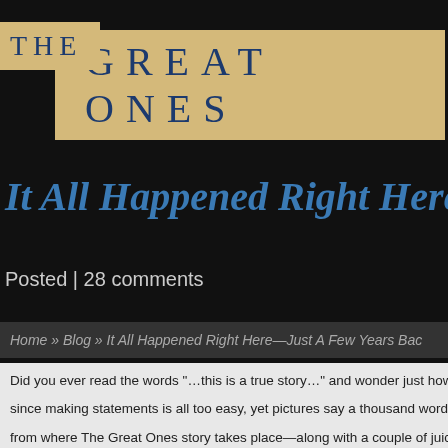THE GREAT ONES
It All Happened Right Here—Just A Few Years Back
Posted | 28 comments
Home » Blog » It All Happened Right Here—Just A Few Years Back
Did you ever read the words "…this is a true story…" and wonder just how "true" it since making statements is all too easy, yet pictures say a thousand words, I thoug from where The Great Ones story takes place—along with a couple of juicy insight
Here's the mayor's office, the Ayuntamiento. The square in front is where we playe
Here's the famous cross on the hill, where the Boy sits with the fresh picked aspar